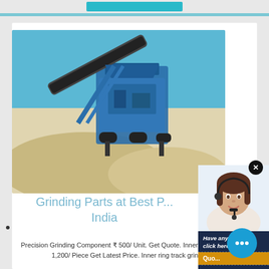[Figure (photo): Blue industrial rock crushing/grinding machine with conveyor belt, surrounded by sand/gravel mounds under a clear blue sky]
[Figure (photo): Chat popup with customer service agent (woman with headset) and text: Have any requests, click here / Quote / Enquiry / limingjlmofen@sina.com]
Grinding Parts at Best P... India
Precision Grinding Component ₹ 500/ Unit. Get Quote. Inner Ring Grinding. ₹ 1,200/ Piece Get Latest Price. Inner ring track grinding is